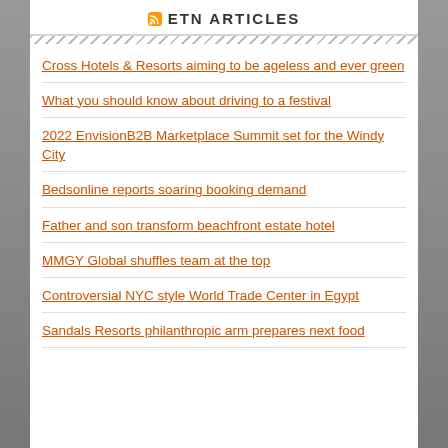ETN ARTICLES
Cross Hotels & Resorts aiming to be ageless and ever green
What you should know about driving to a festival
2022 EnvisionB2B Marketplace Summit set for the Windy City
Bedsonline reports soaring booking demand
Father and son transform beachfront estate hotel
MMGY Global shuffles team at the top
Controversial NYC style World Trade Center in Egypt
Sandals Resorts philanthropic arm prepares next food